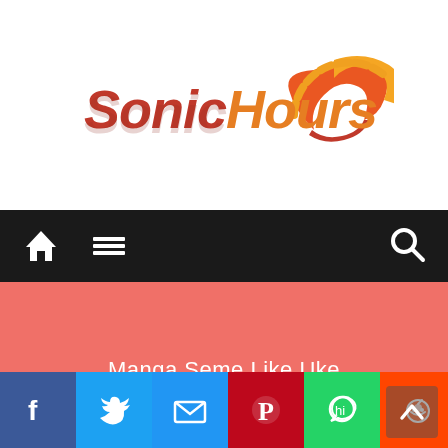[Figure (logo): SonicHours logo with stylized text and speedometer/flame graphic in red, orange, yellow tones]
[Figure (screenshot): Dark navigation bar with home icon, hamburger menu icon on left, and search icon on right]
[Figure (infographic): Salmon/coral colored content area with centered white text reading 'Manga Seme Like Uke']
[Figure (infographic): Social sharing icons row: Facebook (blue), Twitter (light blue), Email (blue), Pinterest (dark red), WhatsApp (green), Reddit (orange-red), Tumblr (dark blue-gray), More/Plus (blue)]